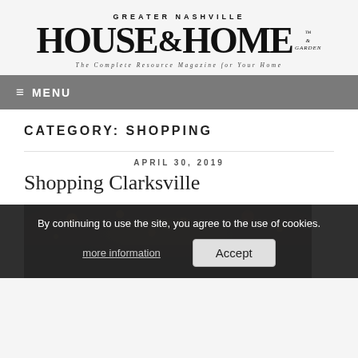[Figure (logo): Greater Nashville House & Home & Garden magazine logo with tagline 'The Complete Resource Magazine for Your Home']
≡ MENU
CATEGORY: SHOPPING
APRIL 30, 2019
Shopping Clarksville
[Figure (photo): Dark warm-toned interior photo with decorative lighting and foliage]
By continuing to use the site, you agree to the use of cookies. more information   Accept